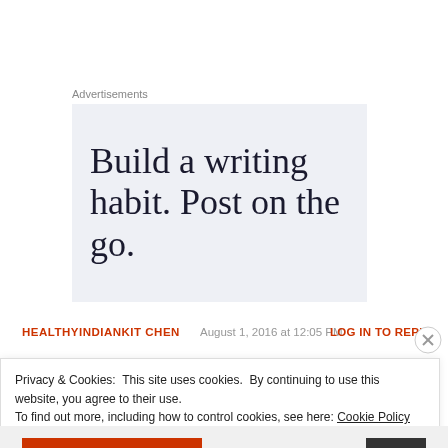Advertisements
[Figure (screenshot): Advertisement banner with light blue/grey background showing text: Build a writing habit. Post on the go.]
HEALTHYINDIANKITCHEN   August 1, 2016 at 12:05 PM   LOG IN TO REPLY
Privacy & Cookies: This site uses cookies. By continuing to use this website, you agree to their use.
To find out more, including how to control cookies, see here: Cookie Policy
Close and accept